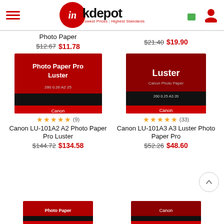[Figure (screenshot): Ink Depot website header with hamburger menu, logo, shopping bag icon, and user icon]
Photo Paper
$12.67 $11.78
$21.40 $19.90
[Figure (photo): Canon LU-101A2 A2 Photo Paper Pro Luster product image - red box]
★★★★★ (9)
Canon LU-101A2 A2 Photo Paper Pro Luster
$144.72 $134.58
[Figure (photo): Canon LU-101A3 A3 Luster Photo Paper Pro product image - red box]
★★★★★ (33)
Canon LU-101A3 A3 Luster Photo Paper Pro
$52.26 $48.60